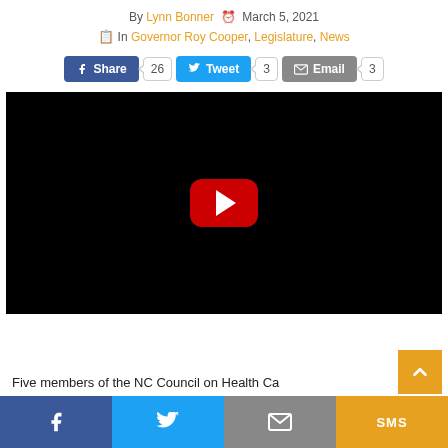By Lynn Bonner  ⏰  March 5, 2021
In Governor Roy Cooper, Legislature, News
[Figure (screenshot): Social share buttons: Share (26), Tweet (3), Email (3)]
[Figure (screenshot): YouTube video embed placeholder with black background and YouTube play button]
Five members of the NC Council on Health Ca...
[Figure (screenshot): Footer social sharing bar with Facebook, Twitter, Email, and SMS buttons]